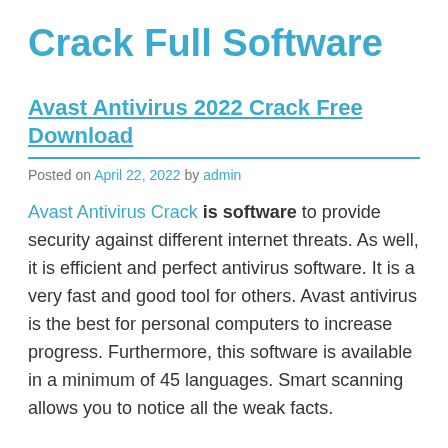Crack Full Software
Avast Antivirus 2022 Crack Free Download
Posted on April 22, 2022 by admin
Avast Antivirus Crack is software to provide security against different internet threats. As well, it is efficient and perfect antivirus software. It is a very fast and good tool for others. Avast antivirus is the best for personal computers to increase progress. Furthermore, this software is available in a minimum of 45 languages. Smart scanning allows you to notice all the weak facts.